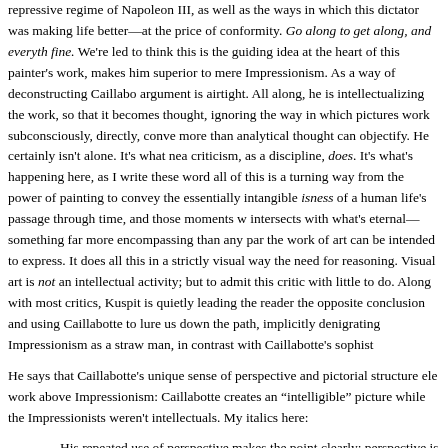repressive regime of Napoleon III, as well as the ways in which this dictator was making life better—at the price of conformity. Go along to get along, and everything's fine. We're led to think this is the guiding idea at the heart of this painter's work, makes him superior to mere Impressionism. As a way of deconstructing Caillabotte's argument is airtight. All along, he is intellectualizing the work, so that it becomes thought, ignoring the way in which pictures work subconsciously, directly, conveying more than analytical thought can objectify. He certainly isn't alone. It's what nearly criticism, as a discipline, does. It's what's happening here, as I write these words— all of this is a turning way from the power of painting to convey the essentially intangible isness of a human life's passage through time, and those moments where intersects with what's eternal—something far more encompassing than any particular the work of art can be intended to express. It does all this in a strictly visual way, the need for reasoning. Visual art is not an intellectual activity; but to admit this leaves critic with little to do. Along with most critics, Kuspit is quietly leading the reader the opposite conclusion and using Caillabotte to lure us down the path, implicitly denigrating Impressionism as a straw man, in contrast with Caillabotte's sophistication.
He says that Caillabotte's unique sense of perspective and pictorial structure elevates work above Impressionism: Caillabotte creates an "intelligible" picture while the Impressionists weren't intellectuals. My italics here:
His repeated use of perspective makes the point clearly: perspective is an intellectual device—a rational way of structuring and stabilizing space and reflectively constructing an intelligible picture—and the Impressionists slowly...